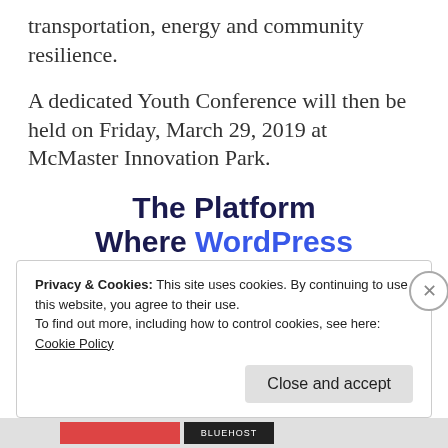transportation, energy and community resilience.
A dedicated Youth Conference will then be held on Friday, March 29, 2019 at McMaster Innovation Park.
The Platform Where WordPress Works Best
Privacy & Cookies: This site uses cookies. By continuing to use this website, you agree to their use.
To find out more, including how to control cookies, see here:
Cookie Policy
Close and accept